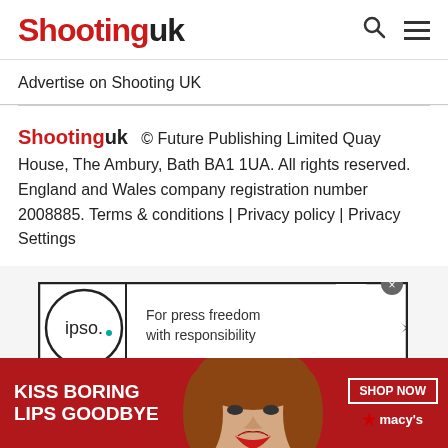Shootinguk
Advertise on Shooting UK
Shootinguk  © Future Publishing Limited Quay House, The Ambury, Bath BA1 1UA. All rights reserved. England and Wales company registration number 2008885. Terms & conditions | Privacy policy | Privacy Settings
[Figure (logo): IPSO badge with circle logo on left reading 'ipso.' with a teal dot, and text on right reading 'For press freedom with responsibility', with a pointed arrow shape on the far right]
[Figure (infographic): Advertisement banner: red background, white text 'KISS BORING LIPS GOODBYE', photo of woman's face with red lipstick in center, 'SHOP NOW' button and Macy's star logo on right]